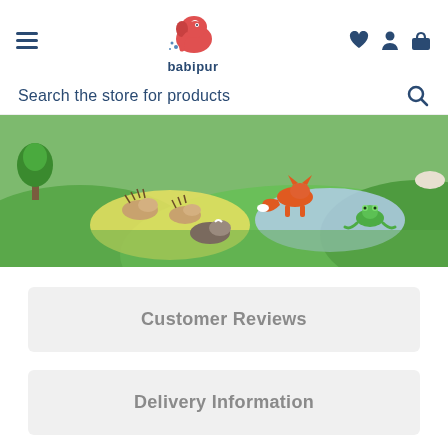babipur navigation header with hamburger menu, logo, and icons for wishlist, account, and cart
Search the store for products
[Figure (photo): Hero banner showing colorful wooden animal figurines (hedgehogs, fox, badger, frog) on a green landscape play mat with yellow and blue pond shapes]
Customer Reviews
Delivery Information